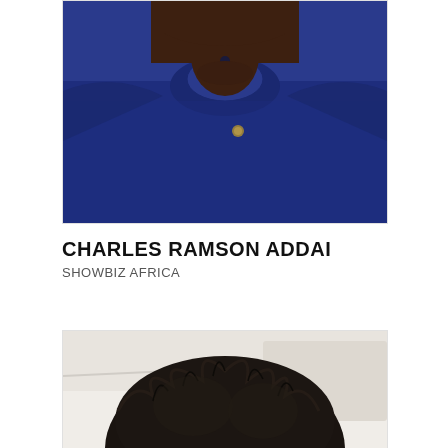[Figure (photo): Cropped portrait photo of Charles Ramson Addai wearing a blue traditional African shirt with a gold pin/button, showing chest and neck area, face not visible (cut off at top)]
CHARLES RAMSON ADDAI
SHOWBIZ AFRICA
[Figure (photo): Top portion of another person's head showing a large natural afro hairstyle, background appears to be a light-colored room or office setting]